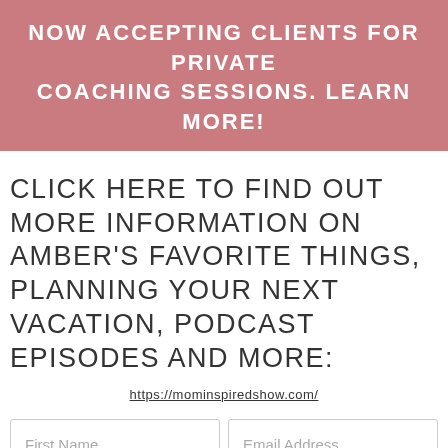NOW ACCEPTING CLIENTS FOR PRIVATE COACHING SESSIONS. LEARN MORE!
CLICK HERE TO FIND OUT MORE INFORMATION ON AMBER'S FAVORITE THINGS, PLANNING YOUR NEXT VACATION, PODCAST EPISODES AND MORE:
https://mominspiredshow.com/
[Figure (other): Web form with First Name and Email Address input fields and a Subscribe button]